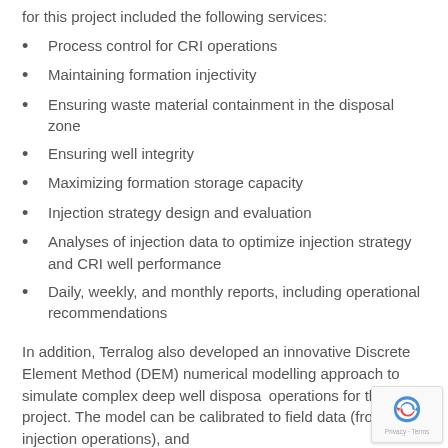for this project included the following services:
Process control for CRI operations
Maintaining formation injectivity
Ensuring waste material containment in the disposal zone
Ensuring well integrity
Maximizing formation storage capacity
Injection strategy design and evaluation
Analyses of injection data to optimize injection strategy and CRI well performance
Daily, weekly, and monthly reports, including operational recommendations
In addition, Terralog also developed an innovative Discrete Element Method (DEM) numerical modelling approach to simulate complex deep well disposal operations for this project. The model can be calibrated to field data (from injection operations), and